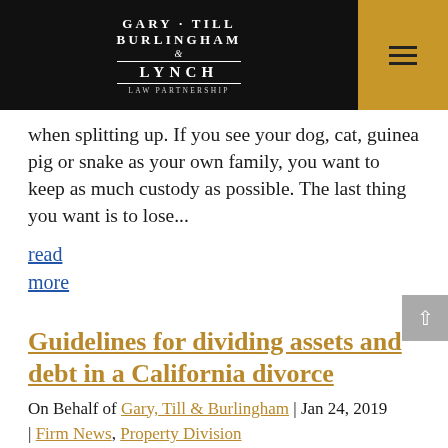GARY · TILL BURLINGHAM & LYNCH LAW PARTNERSHIP
when splitting up. If you see your dog, cat, guinea pig or snake as your own family, you want to keep as much custody as possible. The last thing you want is to lose...
read more
Guidelines for dividing assets and debt in a California divorce
On Behalf of Gary, Till & Burlingham | Jan 24, 2019 | Firm News, Property Division
California courts usually expect divorcing couples to prepare a mutually agreeable plan for splitting their assets and debts. However, some couples